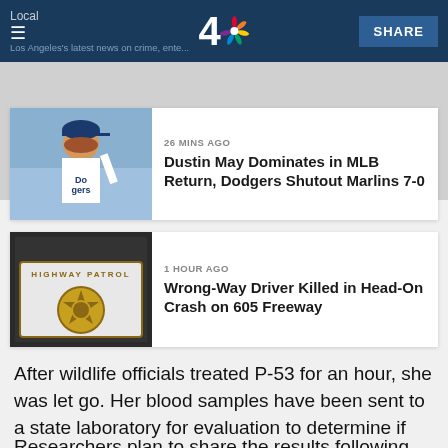Local | NBC 4 Los Angeles's latest news on crime, entertainment... SHARE
[Figure (photo): Dustin May Dodgers pitcher thumbnail photo]
26 MINS AGO
Dustin May Dominates in MLB Return, Dodgers Shutout Marlins 7-0
[Figure (photo): California Highway Patrol car door with badge logo]
1 HOUR AGO
Wrong-Way Driver Killed in Head-On Crash on 605 Freeway
After wildlife officials treated P-53 for an hour, she was let go. Her blood samples have been sent to a state laboratory for evaluation to determine if she did indeed consume rat toxins, Kate Kuykendall said.
Researchers plan to share the results following the month-